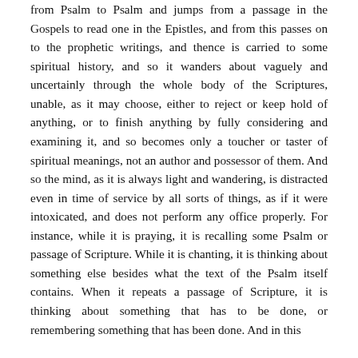from Psalm to Psalm and jumps from a passage in the Gospels to read one in the Epistles, and from this passes on to the prophetic writings, and thence is carried to some spiritual history, and so it wanders about vaguely and uncertainly through the whole body of the Scriptures, unable, as it may choose, either to reject or keep hold of anything, or to finish anything by fully considering and examining it, and so becomes only a toucher or taster of spiritual meanings, not an author and possessor of them. And so the mind, as it is always light and wandering, is distracted even in time of service by all sorts of things, as if it were intoxicated, and does not perform any office properly. For instance, while it is praying, it is recalling some Psalm or passage of Scripture. While it is chanting, it is thinking about something else besides what the text of the Psalm itself contains. When it repeats a passage of Scripture, it is thinking about something that has to be done, or remembering something that has been done. And in this